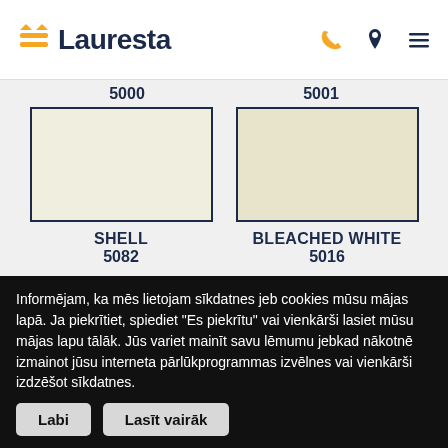Lauresta
5000  5001
[Figure (illustration): Color swatch for SHELL 5082 - off-white/cream color with dark border]
SHELL 5082
[Figure (illustration): Color swatch for BLEACHED WHITE 5016 - warm off-white/ivory color with dark border]
BLEACHED WHITE 5016
[Figure (illustration): Color swatch - light teal/gray-green color with dark border]
[Figure (illustration): Color swatch - medium teal/sage color with dark border]
Informējam, ka mēs lietojam sīkdatnes jeb cookies mūsu mājas lapā. Ja piekrītiet, spiediet "Es piekrītu" vai vienkārši lasiet mūsu mājas lapu tālāk. Jūs variet mainīt savu lēmumu jebkad nākotnē izmainot jūsu interneta pārlūkprogrammas izvēlnes vai vienkārši izdzēšot sīkdatnes.
Labi
Lasīt vairāk